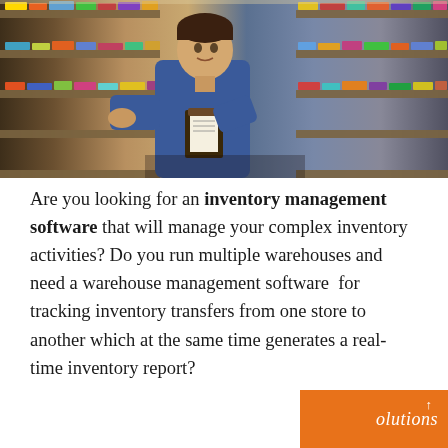[Figure (photo): A man in a blue work uniform/overalls standing in a warehouse or store aisle, writing on a clipboard or notepad while looking at shelves stocked with various products and boxes.]
Are you looking for an inventory management software that will manage your complex inventory activities? Do you run multiple warehouses and need a warehouse management software for tracking inventory transfers from one store to another which at the same time generates a real-time inventory report?
Here is a review of QuickBooks Enterprise Solutions